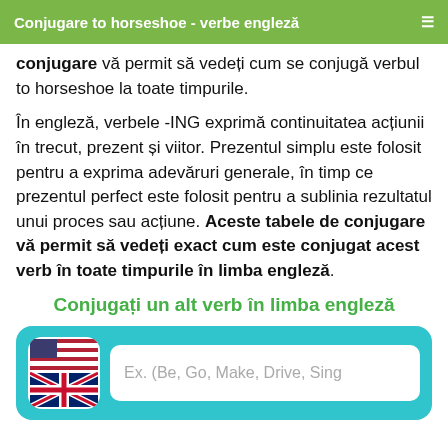Conjugare to horseshoe - verbe engleză
conjugare vă permit să vedeți cum se conjugă verbul to horseshoe la toate timpurile.
În engleză, verbele -ING exprimă continuitatea acțiunii în trecut, prezent și viitor. Prezentul simplu este folosit pentru a exprima adevăruri generale, în timp ce prezentul perfect este folosit pentru a sublinia rezultatul unui proces sau acțiune. Aceste tabele de conjugare vă permit să vedeți exact cum este conjugat acest verb în toate timpurile în limba engleză.
Conjugați un alt verb în limba engleză
[Figure (infographic): Input area with US/UK flag icon and text input placeholder reading 'Ex. (Be, Go, Make, Drive, Sing']